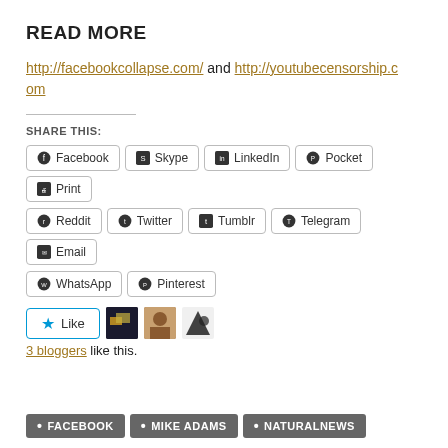READ MORE
http://facebookcollapse.com/ and http://youtubecensorship.com
SHARE THIS:
Facebook  Skype  LinkedIn  Pocket  Print  Reddit  Twitter  Tumblr  Telegram  Email  WhatsApp  Pinterest
Like  3 bloggers like this.
• FACEBOOK  • MIKE ADAMS  • NATURALNEWS